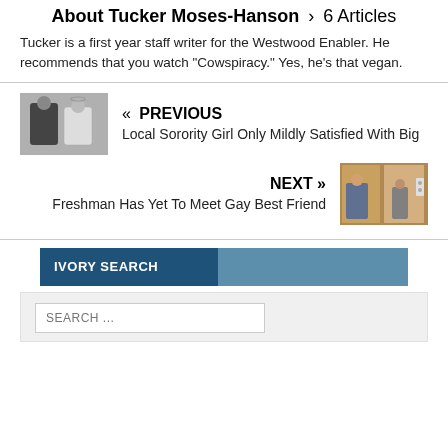About Tucker Moses-Hanson > 6 Articles
Tucker is a first year staff writer for the Westwood Enabler. He recommends that you watch "Cowspiracy." Yes, he's that vegan.
[Figure (photo): Two young women posing together, one in dark jacket]
« PREVIOUS
Local Sorority Girl Only Mildly Satisfied With Big
NEXT »
Freshman Has Yet To Meet Gay Best Friend
[Figure (photo): Person in an elevator or doorway area]
IVORY SEARCH
SEARCH ...